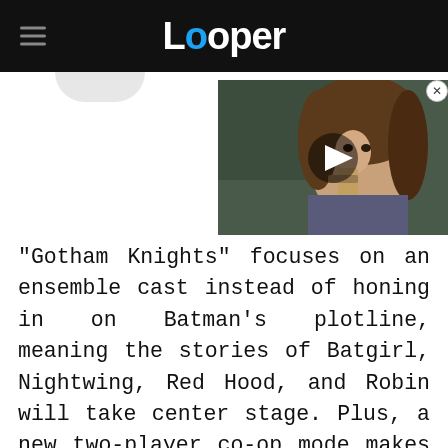Looper
[Figure (photo): Video thumbnail showing a young girl holding a telephone receiver, with a play button overlay. Part of a floating video player on the webpage.]
"Gotham Knights" focuses on an ensemble cast instead of honing in on Batman's plotline, meaning the stories of Batgirl, Nightwing, Red Hood, and Robin will take center stage. Plus, a new two-player co-op mode makes the entry more of a team sport. A recent gameplay demo gave gamers a more in-depth look at some of the additions coming to "Gotham Knights," and there's a lot to be excited